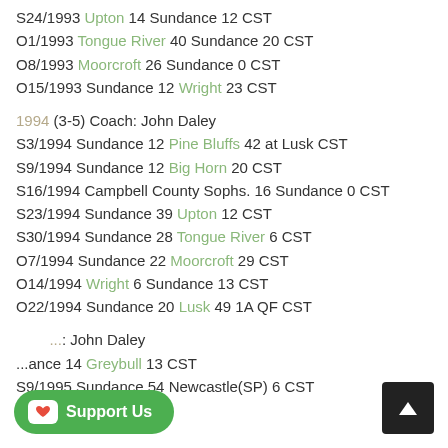S24/1993 Upton 14 Sundance 12 CST
O1/1993 Tongue River 40 Sundance 20 CST
O8/1993 Moorcroft 26 Sundance 0 CST
O15/1993 Sundance 12 Wright 23 CST
1994 (3-5) Coach: John Daley
S3/1994 Sundance 12 Pine Bluffs 42 at Lusk CST
S9/1994 Sundance 12 Big Horn 20 CST
S16/1994 Campbell County Sophs. 16 Sundance 0 CST
S23/1994 Sundance 39 Upton 12 CST
S30/1994 Sundance 28 Tongue River 6 CST
O7/1994 Sundance 22 Moorcroft 29 CST
O14/1994 Wright 6 Sundance 13 CST
O22/1994 Sundance 20 Lusk 49 1A QF CST
... : John Daley
...nce 14 Greybull 13 CST
S9/1995 Sundance 54 Newcastle(SP) 6 CST